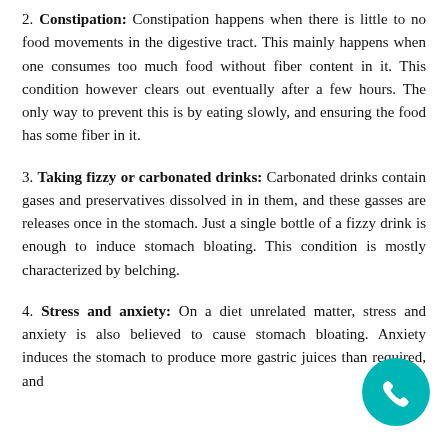2. Constipation: Constipation happens when there is little to no food movements in the digestive tract. This mainly happens when one consumes too much food without fiber content in it. This condition however clears out eventually after a few hours. The only way to prevent this is by eating slowly, and ensuring the food has some fiber in it.
3. Taking fizzy or carbonated drinks: Carbonated drinks contain gases and preservatives dissolved in in them, and these gasses are releases once in the stomach. Just a single bottle of a fizzy drink is enough to induce stomach bloating. This condition is mostly characterized by belching.
4. Stress and anxiety: On a diet unrelated matter, stress and anxiety is also believed to cause stomach bloating. Anxiety induces the stomach to produce more gastric juices than required, and